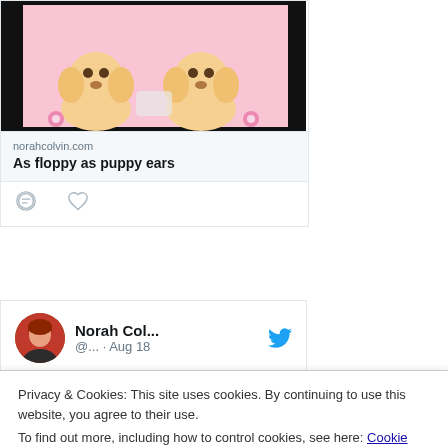[Figure (screenshot): Two yellow Labrador puppies sitting on a pink background with decorative items]
norahcolvin.com
As floppy as puppy ears
[Figure (illustration): Comment and heart/like icons for tweet actions]
[Figure (screenshot): Twitter profile card showing Norah Col... with Twitter bird icon, @... · Aug 18]
Interview with Deborah Frenkel author of
Privacy & Cookies: This site uses cookies. By continuing to use this website, you agree to their use.
To find out more, including how to control cookies, see here: Cookie Policy
[Figure (screenshot): Bottom green image strip showing partial photo]